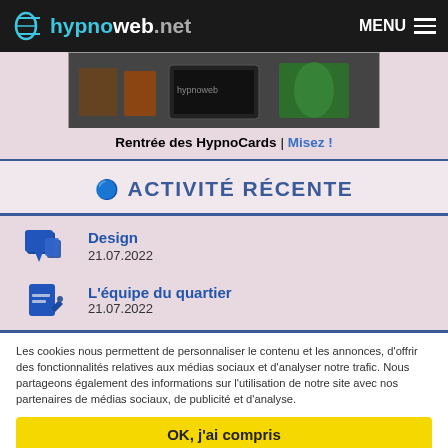hypnoweb.net | MENU
[Figure (screenshot): Banner image showing books, tablet and other items for HypnoCards]
Rentrée des HypnoCards | Misez !
⚙ ACTIVITÉ RÉCENTE
Design
21.07.2022
L'équipe du quartier
21.07.2022
Les cookies nous permettent de personnaliser le contenu et les annonces, d'offrir des fonctionnalités relatives aux médias sociaux et d'analyser notre trafic. Nous partageons également des informations sur l'utilisation de notre site avec nos partenaires de médias sociaux, de publicité et d'analyse.
OK, j'ai compris